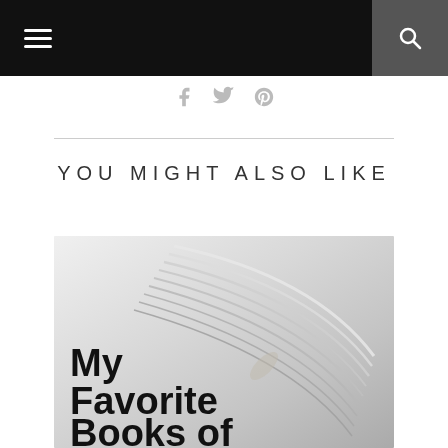[Navigation bar with hamburger menu and search icon]
[Figure (illustration): Social media icons: Facebook (f), Twitter (bird), Pinterest (P) in gray]
YOU MIGHT ALSO LIKE
[Figure (photo): Photo of an open book with pages fanning out, black and white. Text overlay reads 'My Favorite Books of']